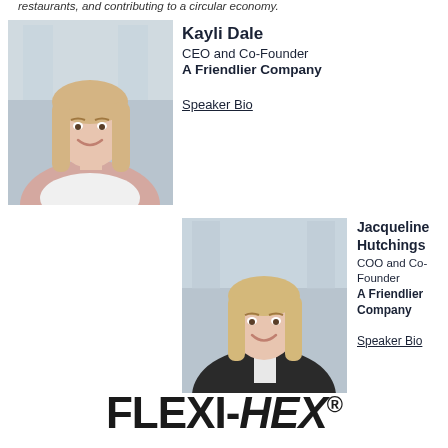restaurants, and contributing to a circular economy.
[Figure (photo): Headshot of Kayli Dale, blonde woman smiling, wearing a light pink blazer, indoor background]
Kayli Dale
CEO and Co-Founder
A Friendlier Company

Speaker Bio
[Figure (photo): Headshot of Jacqueline Hutchings, blonde woman smiling, wearing a black blazer with white top, indoor background]
Jacqueline Hutchings
COO and Co-Founder
A Friendlier Company

Speaker Bio
[Figure (logo): FLEXI-HEX® logo in large bold black text, FLEXI in bold upright and HEX in bold italic]